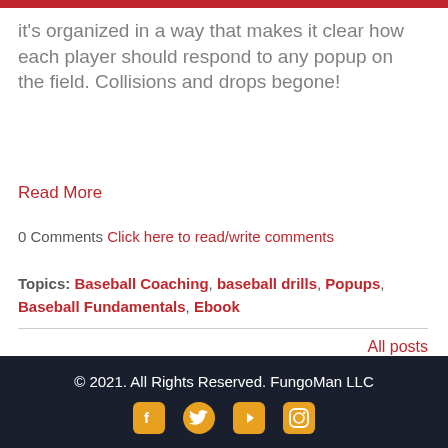it's organized in a way that makes it clear how each player should respond to any popup on the field. Collisions and drops begone!
Read More
0 Comments Click here to read/write comments
Topics: Baseball Coaching, baseball drills, Popups, Baseball Fundamentals, Ebook
All posts
© 2021. All Rights Reserved. FungoMan LLC